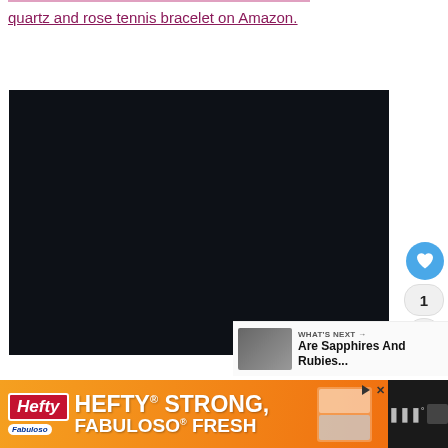quartz and rose tennis bracelet on Amazon.
[Figure (photo): Dark/black image of a jewelry item (tennis bracelet), nearly entirely black/dark navy background]
[Figure (screenshot): WHAT'S NEXT arrow label with thumbnail and text: Are Sapphires And Rubies...]
[Figure (photo): Hefty advertisement banner: HEFTY STRONG, FABULOSO FRESH with orange gradient background]